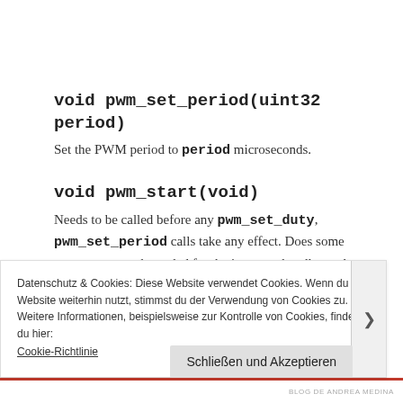void pwm_set_period(uint32 period)
Set the PWM period to period microseconds.
void pwm_start(void)
Needs to be called before any pwm_set_duty, pwm_set_period calls take any effect. Does some preparatory work needed for the interupts handler to do its job of toggling the GPIOs.
Datenschutz & Cookies: Diese Website verwendet Cookies. Wenn du die Website weiterhin nutzt, stimmst du der Verwendung von Cookies zu. Weitere Informationen, beispielsweise zur Kontrolle von Cookies, findest du hier: Cookie-Richtlinie
BLOG DE ANDREA MEDINA